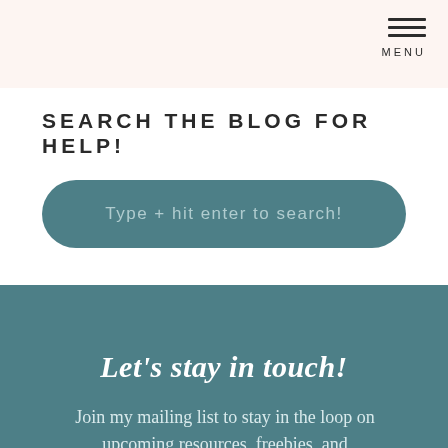MENU
SEARCH THE BLOG FOR HELP!
Type + hit enter to search!
Let’s stay in touch!
Join my mailing list to stay in the loop on upcoming resources, freebies, and